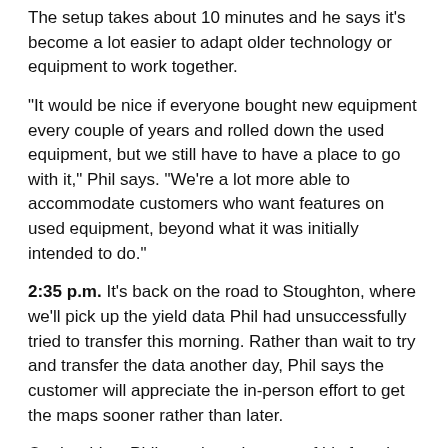The setup takes about 10 minutes and he says it's become a lot easier to adapt older technology or equipment to work together.
"It would be nice if everyone bought new equipment every couple of years and rolled down the used equipment, but we still have to have a place to go with it," Phil says. "We're a lot more able to accommodate customers who want features on used equipment, beyond what it was initially intended to do."
2:35 p.m. It's back on the road to Stoughton, where we'll pick up the yield data Phil had unsuccessfully tried to transfer this morning. Rather than wait to try and transfer the data another day, Phil says the customer will appreciate the in-person effort to get the maps sooner rather than later.
On the drive, Phil mentions that one of his favorite parts of being a precision specialist is getting to be a problem solver for customers and interacting with them. It's evident that Phil relishes being on the road, despite the somewhat solitary nature of the job.
3:17 p.m. We pull into D&D Olson Farms. With no sign of owners Dave or Dale Olson, we head straight to the equipment shed and